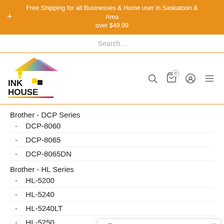Free Shipping for all Businesses & Home user in Saskatoon & Area over $49.99
[Figure (screenshot): Search bar with placeholder text 'Search...']
[Figure (logo): Ink House logo with colorful house graphic and text INK HOUSE]
Brother - DCP Series
DCP-8060
DCP-8065
DCP-8065DN
Brother - HL Series
HL-5200
HL-5240
HL-5240LT
HL-5250
HL-5250DNUX
[Figure (infographic): Google review widget showing 4.9 stars rating with 58 Reviews]